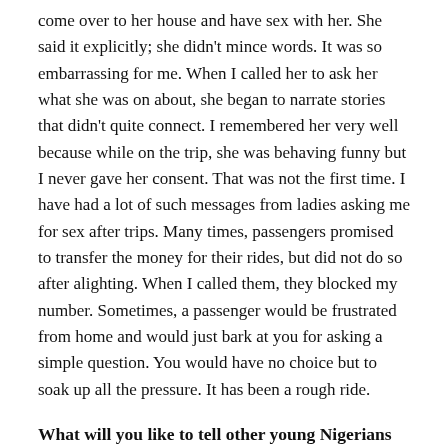come over to her house and have sex with her. She said it explicitly; she didn't mince words. It was so embarrassing for me. When I called her to ask her what she was on about, she began to narrate stories that didn't quite connect. I remembered her very well because while on the trip, she was behaving funny but I never gave her consent. That was not the first time. I have had a lot of such messages from ladies asking me for sex after trips. Many times, passengers promised to transfer the money for their rides, but did not do so after alighting. When I called them, they blocked my number. Sometimes, a passenger would be frustrated from home and would just bark at you for asking a simple question. You would have no choice but to soak up all the pressure. It has been a rough ride.
What will you like to tell other young Nigerians who feel that there is no dignity in labour and want to make quick cash from illegal sources by all means?
The truth is that there is indeed dignity in hard work. The Holy